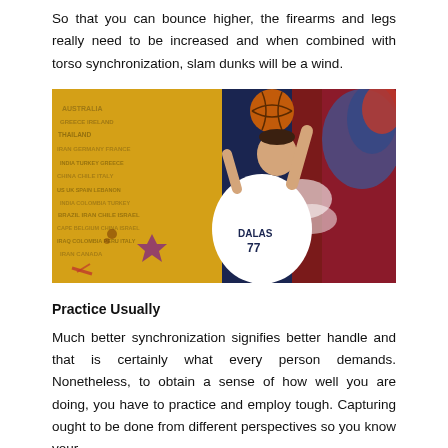So that you can bounce higher, the firearms and legs really need to be increased and when combined with torso synchronization, slam dunks will be a wind.
[Figure (photo): A basketball player wearing a Dallas Mavericks jersey number 77 shooting a basketball, set against a vibrant artistic background with yellow, blue, and red paint effects and text collage.]
Practice Usually
Much better synchronization signifies better handle and that is certainly what every person demands. Nonetheless, to obtain a sense of how well you are doing, you have to practice and employ tough. Capturing ought to be done from different perspectives so you know your weaknesses and use this maneuver practice it.